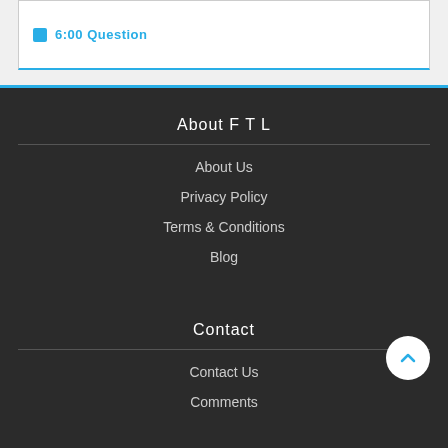6:00 Question
About F T L
About Us
Privacy Policy
Terms & Conditions
Blog
Contact
Contact Us
Comments